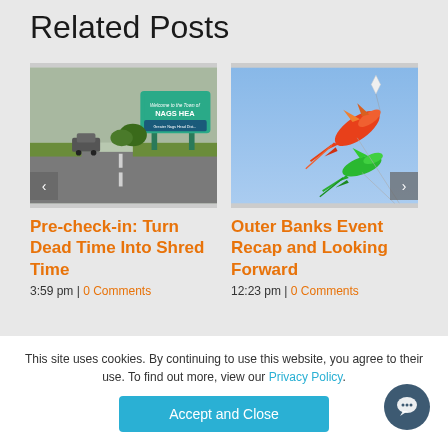Related Posts
[Figure (photo): Welcome sign for Nags Head with a car on a road, surrounded by greenery]
[Figure (photo): Colorful kite fish flying in a blue sky at an Outer Banks event]
Pre-check-in: Turn Dead Time Into Shred Time
Outer Banks Event Recap and Looking Forward
3:59 pm | 0 Comments
12:23 pm | 0 Comments
This site uses cookies. By continuing to use this website, you agree to their use. To find out more, view our Privacy Policy.
Accept and Close